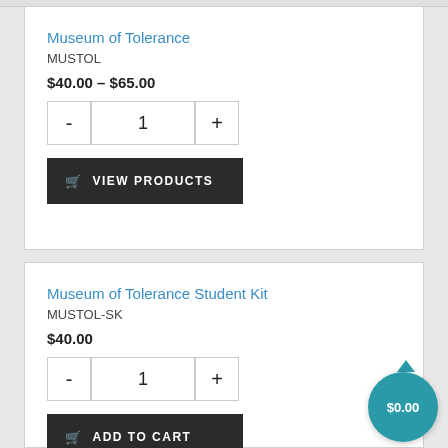Museum of Tolerance
MUSTOL
$40.00 – $65.00
- 1 +
VIEW PRODUCTS
Museum of Tolerance Student Kit
MUSTOL-SK
$40.00
- 1 +
ADD TO CART
$0.00